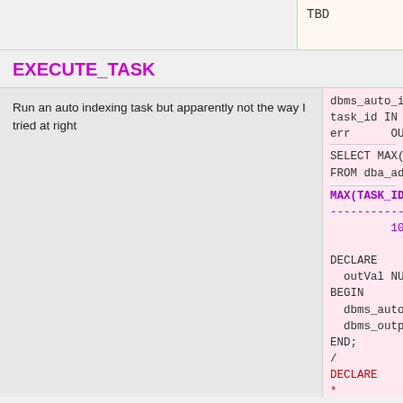TBD
EXECUTE_TASK
Run an auto indexing task but apparently not the way I tried at right
dbms_auto_inde...
task_id IN NU...
err      OUT NU...

SELECT MAX(task...
FROM dba_advise...

MAX(TASK_ID)
------------
         101

DECLARE
  outVal NUMBER
BEGIN
  dbms_auto_in...
  dbms_output.p...
END;
/
DECLARE
*
ERROR at line...
ORA-40019...